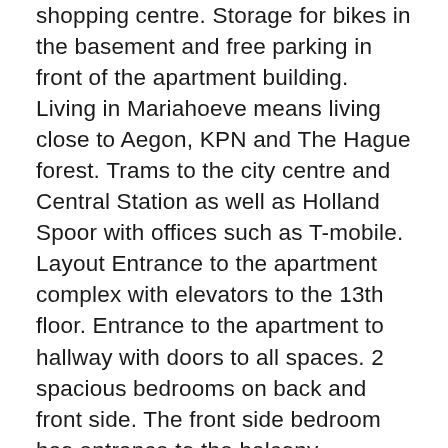shopping centre. Storage for bikes in the basement and free parking in front of the apartment building. Living in Mariahoeve means living close to Aegon, KPN and The Hague forest. Trams to the city centre and Central Station as well as Holland Spoor with offices such as T-mobile. Layout Entrance to the apartment complex with elevators to the 13th floor. Entrance to the apartment to hallway with doors to all spaces. 2 spacious bedrooms on back and front side. The front side bedroom has entrance to the balcony. Optional 3rd bedroom with sliding doors from the living room. Spacious living room with amazing views over the dunes and sea. Brand new kitchen with appliances such as dishwasher, induction stove, fridge / freezer. Bathroom with walk-in shower, sink and towel radiator. Separate toilet. Epoxy floors, centrally heated and double glazed. The Mariahoeve area borders on the edge of The Hague with the green Haagse Bos and Landgoed Clingendael just minutes away. The British